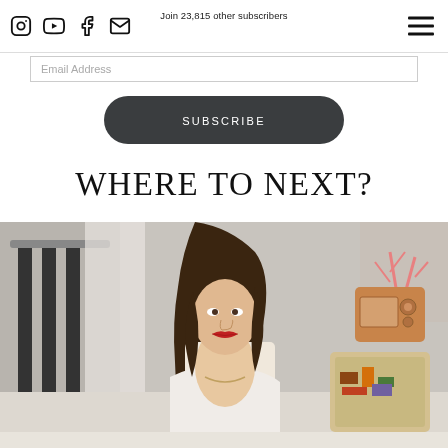Social media icons (Instagram, YouTube, Facebook, Email) and hamburger menu
Join 23,815 other subscribers
Email Address
SUBSCRIBE
WHERE TO NEXT?
[Figure (photo): A young woman with long brown hair, red lipstick, wearing a white off-shoulder crop top, sitting on a white bed. Background shows a room with a vintage radio, colorful pillow, and coral/plant decoration.]